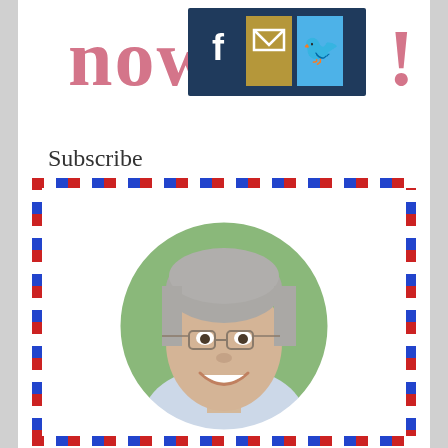[Figure (screenshot): Top banner with partial text 'now' and '!' in pink/rose color, with social media icons bar showing Facebook, email/envelope, and Twitter icons on a dark navy background]
Subscribe
[Figure (photo): Circular portrait photo of a smiling older gentleman with gray hair and glasses, wearing a light blue shirt, set against a green leafy background. Framed inside an airmail-style decorative border with alternating red, white, and blue diagonal stripes.]